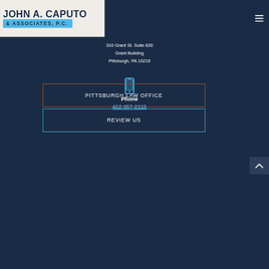[Figure (logo): John A. Caputo & Associates, P.C. law firm logo with dark navy text on light background and blue bar for associates line]
310 Grant St. Suite 820
Grant Building
Pittsburgh, PA 15219
[Figure (illustration): Blue smartphone/mobile phone icon]
Phone
412-357-2115
PITTSBURGH LAW OFFICE
REVIEW US